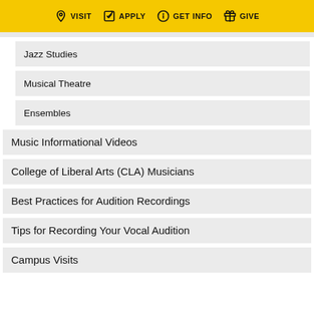VISIT  APPLY  GET INFO  GIVE
Jazz Studies
Musical Theatre
Ensembles
Music Informational Videos
College of Liberal Arts (CLA) Musicians
Best Practices for Audition Recordings
Tips for Recording Your Vocal Audition
Campus Visits